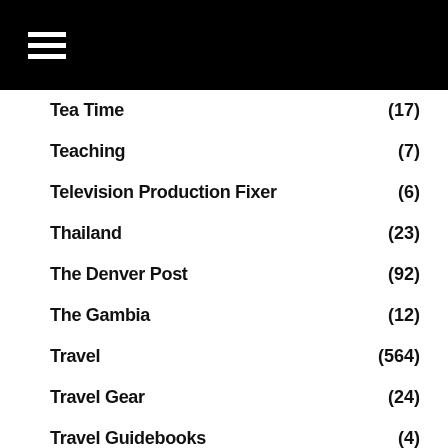Navigation menu header bar
Tea Time (17)
Teaching (7)
Television Production Fixer (6)
Thailand (23)
The Denver Post (92)
The Gambia (12)
Travel (564)
Travel Gear (24)
Travel Guidebooks (4)
Travel Quotes (10)
Travel Writing (299)